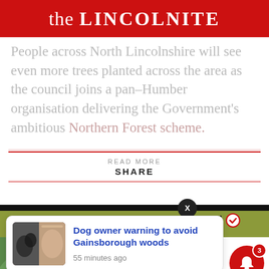the LINCOLNITE
People across North Lincolnshire will see even more trees planted across the area as the council joins a pan-Humber organisation delivering the Government's ambitious Northern Forest scheme.
READ MORE
SHARE
[Figure (screenshot): Notification popup: 'Dog owner warning to avoid Gainsborough woods' 55 minutes ago, with thumbnail image of dogs/person]
ncil
55 minutes ago